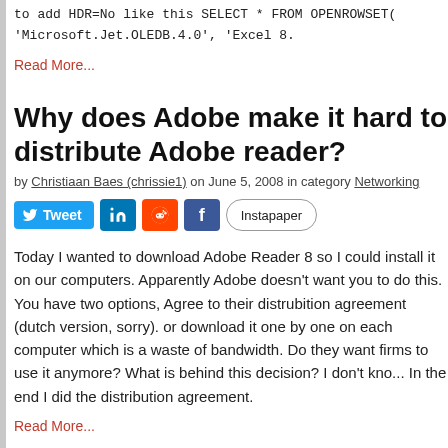to add HDR=No like this SELECT * FROM OPENROWSET( 'Microsoft.Jet.OLEDB.4.0', 'Excel 8.
Read More...
Why does Adobe make it hard to distribute Adobe reader?
by Christiaan Baes (chrissie1) on June 5, 2008 in category Networking
[Figure (other): Social sharing buttons: Tweet, LinkedIn, Reddit, Facebook, Instapaper]
Today I wanted to download Adobe Reader 8 so I could install it on our computers. Apparently Adobe doesn't want you to do this. You have two options, Agree to their distrubition agreement (dutch version, sorry). or download it one by one on each computer which is a waste of bandwidth. Do they want firms to use it anymore? What is behind this decision? I don't kno... In the end I did the distribution agreement.
Read More...
Podcast: SQL Server 2008 Security and Availability, Management, Troubleshooting and Throttling